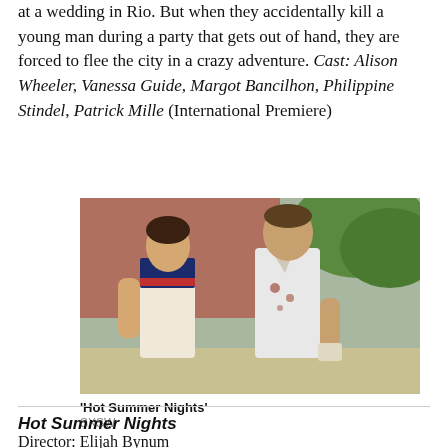at a wedding in Rio. But when they accidentally kill a young man during a party that gets out of hand, they are forced to flee the city in a crazy adventure. Cast: Alison Wheeler, Vanessa Guide, Margot Bancilhon, Philippine Stindel, Patrick Mille (International Premiere)
[Figure (photo): Two young men walking outdoors in summer. One wears a cream and navy polo shirt, the other a torn white t-shirt with stains. Background shows brick building and greenery.]
'Hot Summer Nights'
SXSW
Hot Summer Nights
Director: Elijah Bynum